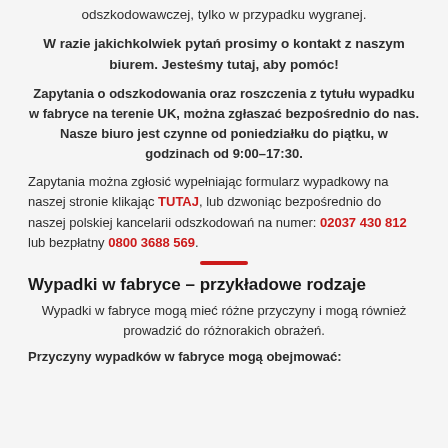odszkodowawczej, tylko w przypadku wygranej.
W razie jakichkolwiek pytań prosimy o kontakt z naszym biurem. Jesteśmy tutaj, aby pomóc!
Zapytania o odszkodowania oraz roszczenia z tytułu wypadku w fabryce na terenie UK, można zgłaszać bezpośrednio do nas. Nasze biuro jest czynne od poniedziałku do piątku, w godzinach od 9:00–17:30.
Zapytania można zgłosić wypełniając formularz wypadkowy na naszej stronie klikając TUTAJ, lub dzwoniąc bezpośrednio do naszej polskiej kancelarii odszkodowań na numer: 02037 430 812 lub bezpłatny 0800 3688 569.
Wypadki w fabryce – przykładowe rodzaje
Wypadki w fabryce mogą mieć różne przyczyny i mogą również prowadzić do różnorakich obrażeń.
Przyczyny wypadków w fabryce mogą obejmować: